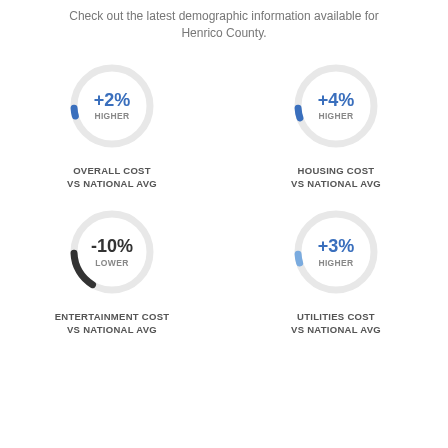Check out the latest demographic information available for Henrico County.
[Figure (donut-chart): Donut gauge showing +2% HIGHER]
OVERALL COST VS NATIONAL AVG
[Figure (donut-chart): Donut gauge showing +4% HIGHER]
HOUSING COST VS NATIONAL AVG
[Figure (donut-chart): Donut gauge showing -10% LOWER]
ENTERTAINMENT COST VS NATIONAL AVG
[Figure (donut-chart): Donut gauge showing +3% HIGHER]
UTILITIES COST VS NATIONAL AVG